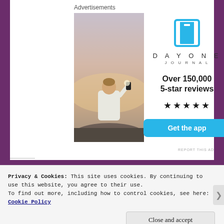Advertisements
[Figure (photo): Person sitting on rocks photographing sunset, viewed from behind, wearing white t-shirt]
[Figure (logo): Day One Journal app logo: cyan bookmark icon above text DAYONE JOURNAL with 5-star rating and Get the app button]
REPORT THIS AD
Privacy & Cookies: This site uses cookies. By continuing to use this website, you agree to their use.
To find out more, including how to control cookies, see here: Cookie Policy
Close and accept